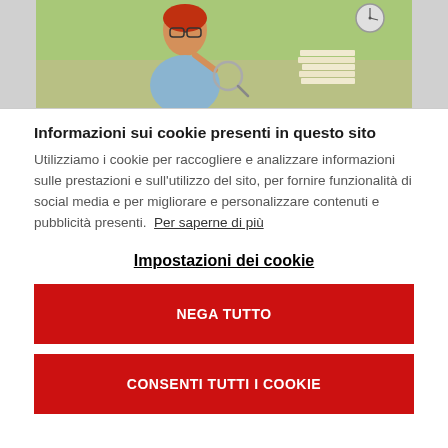[Figure (photo): Photo of a woman with red hair and glasses examining something closely, with a clock visible in the upper right, on a green background]
Informazioni sui cookie presenti in questo sito
Utilizziamo i cookie per raccogliere e analizzare informazioni sulle prestazioni e sull'utilizzo del sito, per fornire funzionalità di social media e per migliorare e personalizzare contenuti e pubblicità presenti.  Per saperne di più
Impostazioni dei cookie
NEGA TUTTO
CONSENTI TUTTI I COOKIE